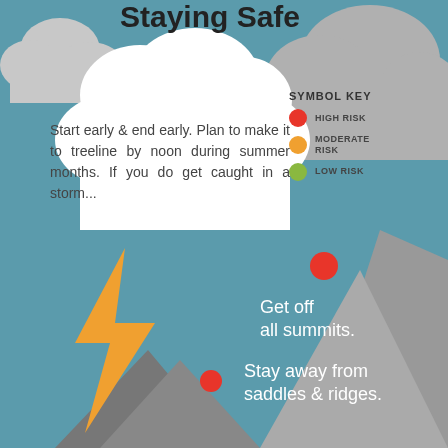Staying Safe
[Figure (infographic): Cloud speech bubble with storm safety text, symbol key with high/moderate/low risk dots, lightning bolt, mountains with red dot markers indicating get off summits and stay away from saddles & ridges.]
Start early & end early. Plan to make it to treeline by noon during summer months. If you do get caught in a storm...
SYMBOL KEY
HIGH RISK
MODERATE RISK
LOW RISK
Get off all summits.
Stay away from saddles & ridges.